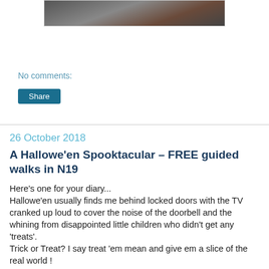[Figure (photo): A partially visible photograph at the top of the page, showing a dark textured image, likely an animal or outdoor scene.]
No comments:
Share
26 October 2018
A Hallowe'en Spooktacular – FREE guided walks in N19
Here's one for your diary...
Hallowe'en usually finds me behind locked doors with the TV cranked up loud to cover the noise of the doorbell and the whining from disappointed little children who didn't get any 'treats'.
Trick or Treat? I say treat 'em mean and give em a slice of the real world !
Something that perhaps the ghostly it doesn't